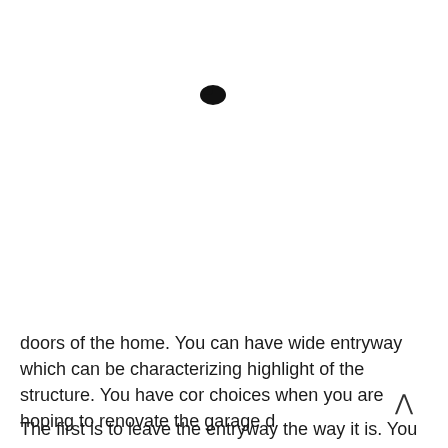[Figure (illustration): A small black ink blot or decorative bullet mark near the top center of the page]
doors of the home. You can have wide entryway which can be characterizing highlight of the structure. You have choices when you are hoping to renovate the garage d
The first is to leave the entryway the way it is. You can also